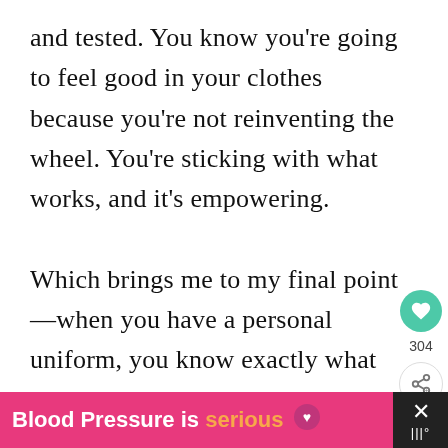and tested. You know you're going to feel good in your clothes because you're not reinventing the wheel. You're sticking with what works, and it's empowering.

Which brings me to my final point—when you have a personal uniform, you know exactly what you like, so you stop buying clothes you don't wear. You're focused and less
[Figure (other): Heart/like button (teal circle with white heart icon) with count 304, and a share button below it, displayed as a sidebar UI element]
[Figure (other): Pink advertisement banner reading 'Blood Pressure is serious' with a heart/music icon, and a dark close button with X]